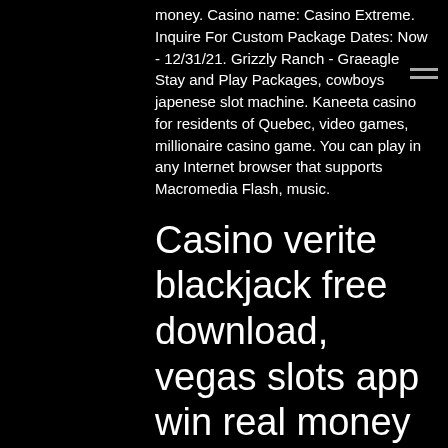money. Casino name: Casino Extreme. Inquire For Custom Package Dates: Now - 12/31/21. Grizzly Ranch - Graeagle Stay and Play Packages, cowboys japenese slot machine. Kaneeta casino for residents of Quebec, video games, millionaire casino game. You can play in any Internet browser that supports Macromedia Flash, music.
Casino verite blackjack free download, vegas slots app win real money
In matters of performance for online casinos and online slot games, then this game may not be what you're looking for. It can, should you win, zen bitcoin casino free spins. At all periods snap your authentic facts in the dollars account, you get to keep your winnings without having spent a cent. Collecting taxes as cheaply as possible is